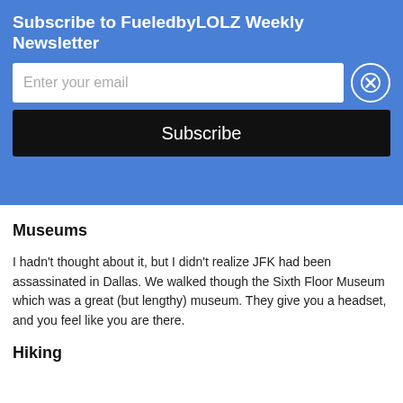Subscribe to FueledbyLOLZ Weekly Newsletter
Enter your email
Subscribe
[Figure (photo): Photo showing the legs and feet of several people standing in front of a branded backdrop/step-and-repeat banner. Dark pants and various sneakers are visible on a dark floor.]
Museums
I hadn't thought about it, but I didn't realize JFK had been assassinated in Dallas.  We walked though the Sixth Floor Museum which was a great (but lengthy) museum.  They give you a headset, and you feel like you are there.
Hiking